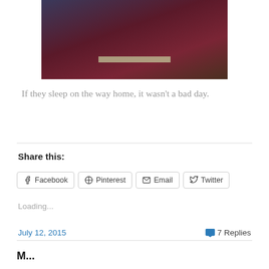[Figure (photo): A photo showing what appears to be a dark maroon/burgundy book or bag, partially visible, with a light strip near the bottom, against a background with fabric and other items.]
If they sleep on the way home, it wasn't a bad day.
Share this:
Facebook  Pinterest  Email  Twitter
Loading...
July 12, 2015
7 Replies